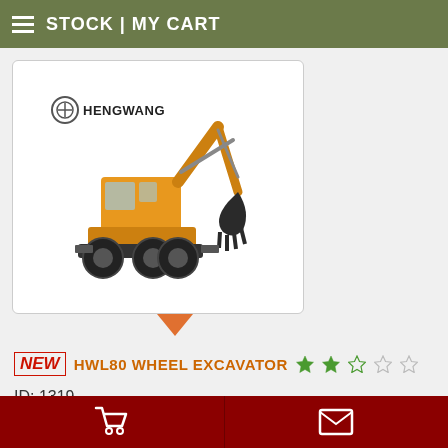STOCK | MY CART
[Figure (photo): Hengwang HWL80 Wheel Excavator product photo showing a yellow wheeled excavator with boom arm and bucket, on white background. Hengwang logo visible in upper left of image.]
NEW   HWL80 WHEEL EXCAVATOR  ★★☆☆☆ (2.5 stars out of 5)
ID: 1319
Cart icon | Mail/Message icon